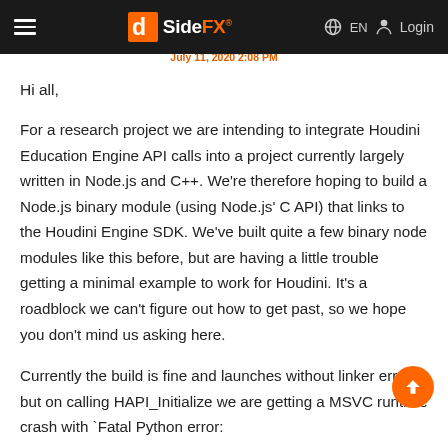SideFX — July 11, 2020 2:08 PM — EN — Login
Hi all,
For a research project we are intending to integrate Houdini Education Engine API calls into a project currently largely written in Node.js and C++. We're therefore hoping to build a Node.js binary module (using Node.js' C API) that links to the Houdini Engine SDK. We've built quite a few binary node modules like this before, but are having a little trouble getting a minimal example to work for Houdini. It's a roadblock we can't figure out how to get past, so we hope you don't mind us asking here.
Currently the build is fine and launches without linker errors, but on calling HAPI_Initialize we are getting a MSVC runtime crash with 'Fatal Python error: